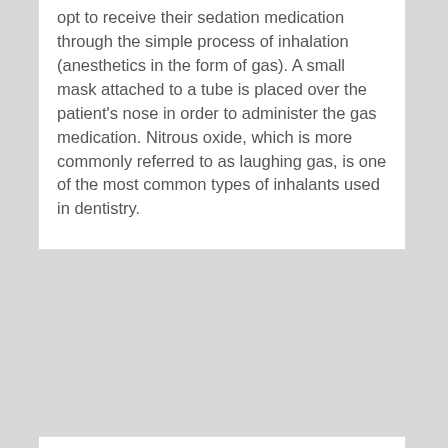opt to receive their sedation medication through the simple process of inhalation (anesthetics in the form of gas). A small mask attached to a tube is placed over the patient's nose in order to administer the gas medication. Nitrous oxide, which is more commonly referred to as laughing gas, is one of the most common types of inhalants used in dentistry.
0 Comment(s)   Permalink
[Figure (other): Social sharing buttons: Facebook (blue), Twitter (light blue), Email (gray), Google (blue), Favorites/Star (orange/yellow), Add/Plus (red-orange)]
Avoiding The Dentist
By Sedation Dentist   November 08, 2014